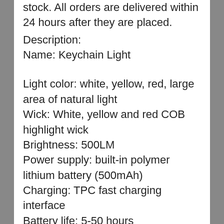stock. All orders are delivered within 24 hours after they are placed.
Description:
Name: Keychain Light
Light color: white, yellow, red, large area of natural light
Wick: White, yellow and red COB highlight wick
Brightness: 500LM
Power supply: built-in polymer lithium battery (500mAh)
Charging: TPC fast charging interface
Battery life: 5-50 hours
Waterproof: life waterproof
Weight about 62g